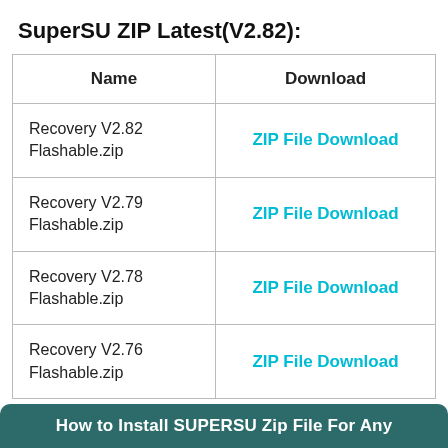SuperSU ZIP Latest(V2.82):
| Name | Download |
| --- | --- |
| Recovery V2.82 Flashable.zip | ZIP File Download |
| Recovery V2.79 Flashable.zip | ZIP File Download |
| Recovery V2.78 Flashable.zip | ZIP File Download |
| Recovery V2.76 Flashable.zip | ZIP File Download |
How to Install SUPERSU Zip File For Any